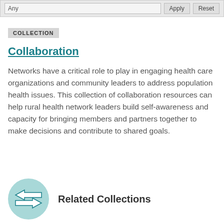Any | Apply | Reset
COLLECTION
Collaboration
Networks have a critical role to play in engaging health care organizations and community leaders to address population health issues. This collection of collaboration resources can help rural health network leaders build self-awareness and capacity for bringing members and partners together to make decisions and contribute to shared goals.
Related Collections